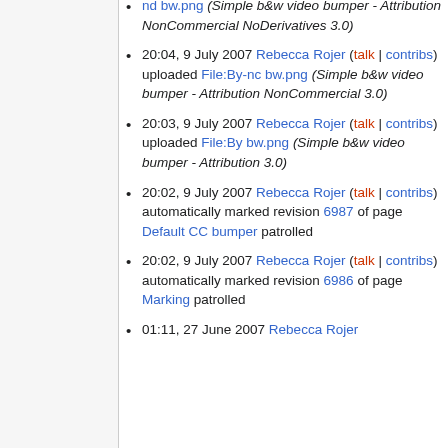nd bw.png (Simple b&w video bumper - Attribution NonCommercial NoDerivatives 3.0)
20:04, 9 July 2007 Rebecca Rojer (talk | contribs) uploaded File:By-nc bw.png (Simple b&w video bumper - Attribution NonCommercial 3.0)
20:03, 9 July 2007 Rebecca Rojer (talk | contribs) uploaded File:By bw.png (Simple b&w video bumper - Attribution 3.0)
20:02, 9 July 2007 Rebecca Rojer (talk | contribs) automatically marked revision 6987 of page Default CC bumper patrolled
20:02, 9 July 2007 Rebecca Rojer (talk | contribs) automatically marked revision 6986 of page Marking patrolled
01:11, 27 June 2007 Rebecca Rojer